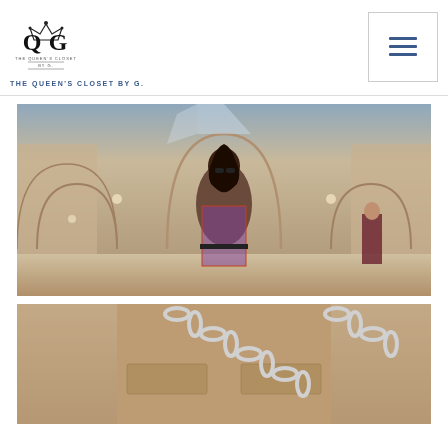[Figure (logo): The Queen's Closet by G. logo — QG monogram with crown]
THE QUEEN'S CLOSET BY G.
[Figure (photo): Woman in patterned dress standing in a grand shopping gallery (Galleria Vittorio Emanuele II, Milan) with ornate arched architecture and glass ceiling]
[Figure (photo): Close-up of a tan/beige coat or bag with white chain-link strap detail]